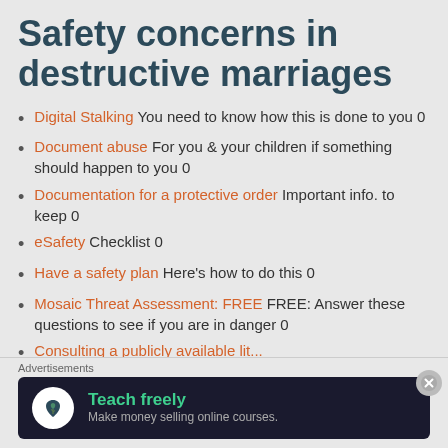Safety concerns in destructive marriages
Digital Stalking You need to know how this is done to you 0
Document abuse For you & your children if something should happen to you 0
Documentation for a protective order Important info. to keep 0
eSafety Checklist 0
Have a safety plan Here's how to do this 0
Mosaic Threat Assessment: FREE FREE: Answer these questions to see if you are in danger 0
(truncated link text)
Advertisements
[Figure (infographic): Advertisement banner for 'Teach freely - Make money selling online courses' on dark background with bonsai tree logo]